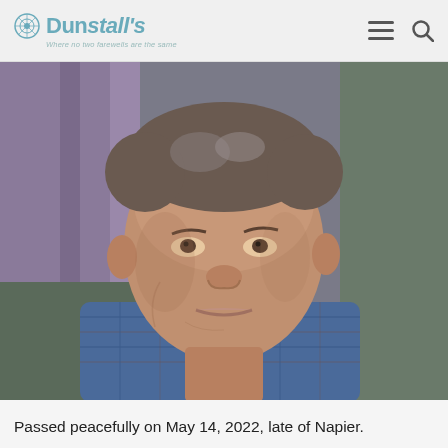Dunstall's — Where no two farewells are the same
[Figure (photo): Portrait photograph of an older man with grey-brown hair, wearing a blue plaid shirt, seated in a green armchair with purple curtains in the background. The man is looking directly at the camera with a slight expression.]
Passed peacefully on May 14, 2022, late of Napier.